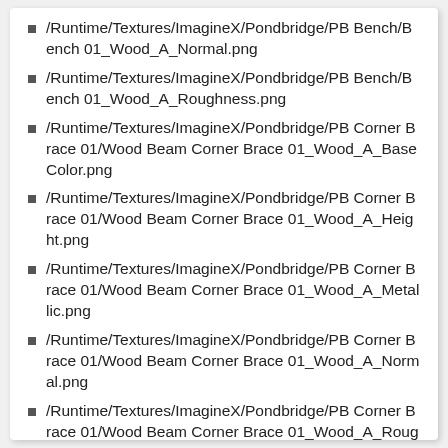/Runtime/Textures/ImagineX/Pondbridge/PB Bench/Bench 01_Wood_A_Normal.png
/Runtime/Textures/ImagineX/Pondbridge/PB Bench/Bench 01_Wood_A_Roughness.png
/Runtime/Textures/ImagineX/Pondbridge/PB Corner Brace 01/Wood Beam Corner Brace 01_Wood_A_BaseColor.png
/Runtime/Textures/ImagineX/Pondbridge/PB Corner Brace 01/Wood Beam Corner Brace 01_Wood_A_Height.png
/Runtime/Textures/ImagineX/Pondbridge/PB Corner Brace 01/Wood Beam Corner Brace 01_Wood_A_Metallic.png
/Runtime/Textures/ImagineX/Pondbridge/PB Corner Brace 01/Wood Beam Corner Brace 01_Wood_A_Normal.png
/Runtime/Textures/ImagineX/Pondbridge/PB Corner Brace 01/Wood Beam Corner Brace 01_Wood_A_Roughness.png
/Runtime/Textures/ImagineX/Pondbridge/PB Corner Brace 02/Wood Beam Corner Brace…